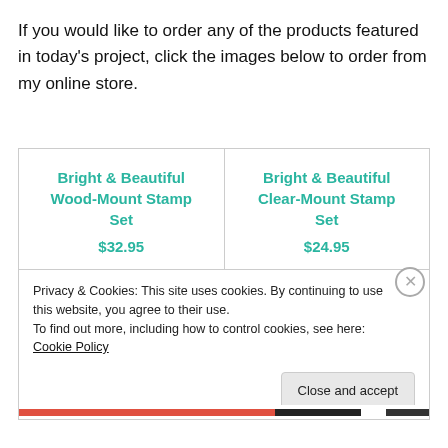If you would like to order any of the products featured in today's project, click the images below to order from my online store.
| Product | Price |
| --- | --- |
| Bright & Beautiful Wood-Mount Stamp Set | $32.95 |
| Bright & Beautiful Clear-Mount Stamp Set | $24.95 |
Privacy & Cookies: This site uses cookies. By continuing to use this website, you agree to their use.
To find out more, including how to control cookies, see here: Cookie Policy
Close and accept